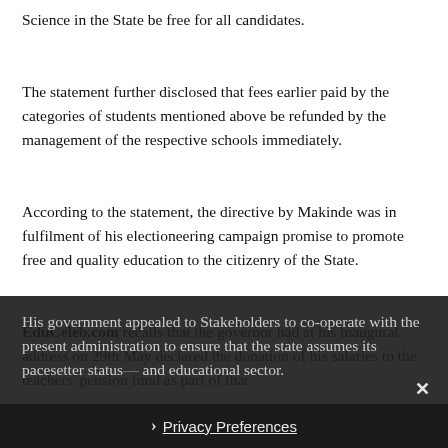Science in the State be free for all candidates.
The statement further disclosed that fees earlier paid by the categories of students mentioned above be refunded by the management of the respective schools immediately.
According to the statement, the directive by Makinde was in fulfilment of his electioneering campaign promise to promote free and quality education to the citizenry of the State.
EduCeleb.com recalls that the governor had at his inaugural address on 29th May declared the donation of his salaries to the teachers' pension fund as part of that.
His government appealed to Stakeholders to co-operate with the present administration to ensure that the state assumes its pacesetter status and educational sector.
Privacy Preferences